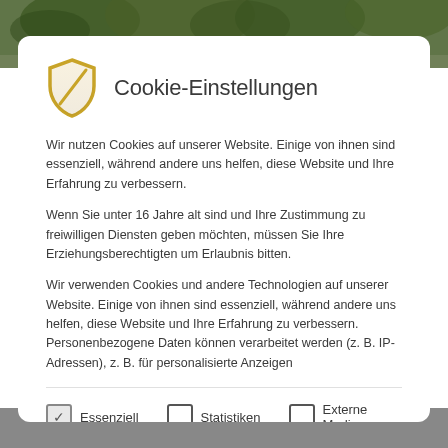[Figure (screenshot): Background: green trees photo at top, gray bar at bottom, white modal dialog overlay]
Cookie-Einstellungen
Wir nutzen Cookies auf unserer Website. Einige von ihnen sind essenziell, während andere uns helfen, diese Website und Ihre Erfahrung zu verbessern.
Wenn Sie unter 16 Jahre alt sind und Ihre Zustimmung zu freiwilligen Diensten geben möchten, müssen Sie Ihre Erziehungsberechtigten um Erlaubnis bitten.
Wir verwenden Cookies und andere Technologien auf unserer Website. Einige von ihnen sind essenziell, während andere uns helfen, diese Website und Ihre Erfahrung zu verbessern. Personenbezogene Daten können verarbeitet werden (z. B. IP-Adressen), z. B. für personalisierte Anzeigen
Essenziell
Statistiken
Externe Medien